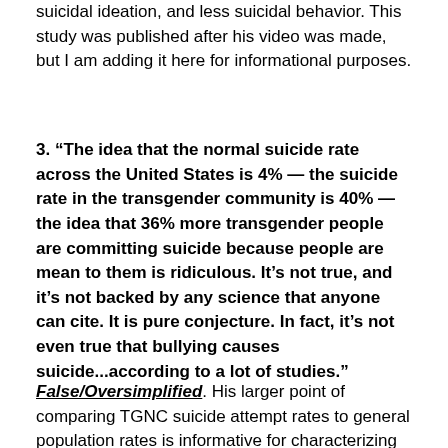suicidal ideation, and less suicidal behavior. This study was published after his video was made, but I am adding it here for informational purposes.
3. “The idea that the normal suicide rate across the United States is 4% — the suicide rate in the transgender community is 40% — the idea that 36% more transgender people are committing suicide because people are mean to them is ridiculous. It’s not true, and it’s not backed by any science that anyone can cite. It is pure conjecture. In fact, it’s not even true that bullying causes suicide...according to a lot of studies.”
False/Oversimplified. His larger point of comparing TGNC suicide attempt rates to general population rates is informative for characterizing disparities, but the 4%